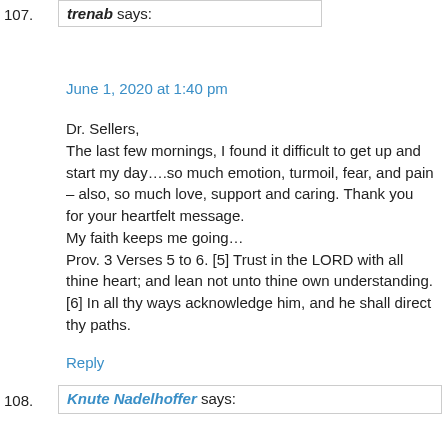107. trenab says:
June 1, 2020 at 1:40 pm
Dr. Sellers,
The last few mornings, I found it difficult to get up and start my day….so much emotion, turmoil, fear, and pain – also, so much love, support and caring. Thank you for your heartfelt message.
My faith keeps me going…
Prov. 3 Verses 5 to 6. [5] Trust in the LORD with all thine heart; and lean not unto thine own understanding. [6] In all thy ways acknowledge him, and he shall direct thy paths.
Reply
108. Knute Nadelhoffer says: